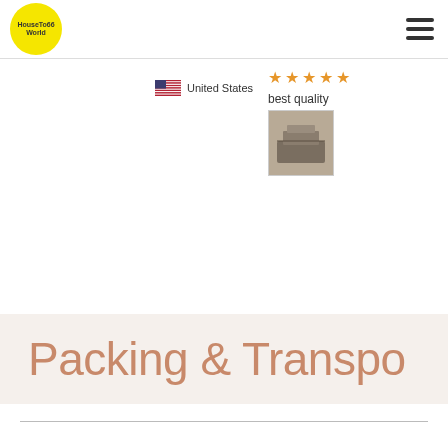HouseTo66 World
United States
[Figure (other): Five orange star rating icons]
best quality
[Figure (photo): Small thumbnail photo of a product]
Packing & Transpo